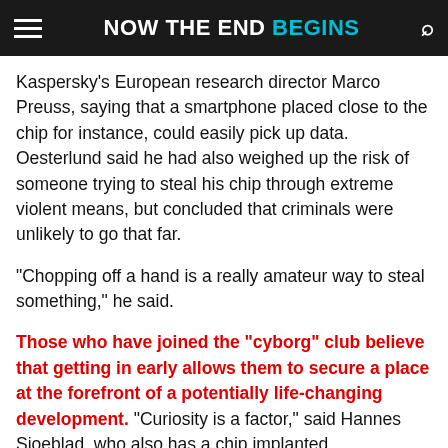NOW THE END BEGINS
Kaspersky's European research director Marco Preuss, saying that a smartphone placed close to the chip for instance, could easily pick up data. Oesterlund said he had also weighed up the risk of someone trying to steal his chip through extreme violent means, but concluded that criminals were unlikely to go that far.
“Chopping off a hand is a really amateur way to steal something,” he said.
Those who have joined the “cyborg” club believe that getting in early allows them to secure a place at the forefront of a potentially life-changing development. “Curiosity is a factor,” said Hannes Sjoeblad, who also has a chip implanted.
But he added that a key aim is “to explore this technology before the government starts doing